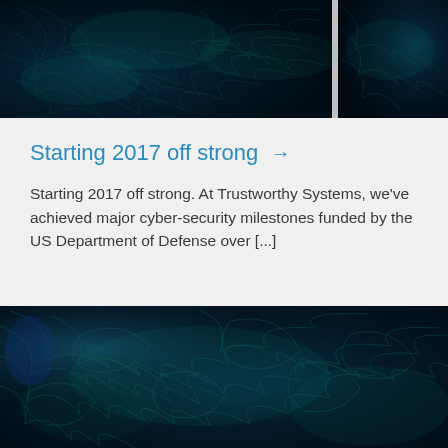[Figure (photo): Close-up photograph of dark blue foliage with teal/green-lit leaf veins, forming an abstract texture pattern. Image is split into two panels side by side.]
Starting 2017 off strong →
Starting 2017 off strong. At Trustworthy Systems, we've achieved major cyber-security milestones funded by the US Department of Defense over [...]
[Figure (photo): Close-up photograph of dark blue foliage with teal/green-lit leaf veins, forming an abstract swirling texture pattern. Full-width image at the bottom of the page.]